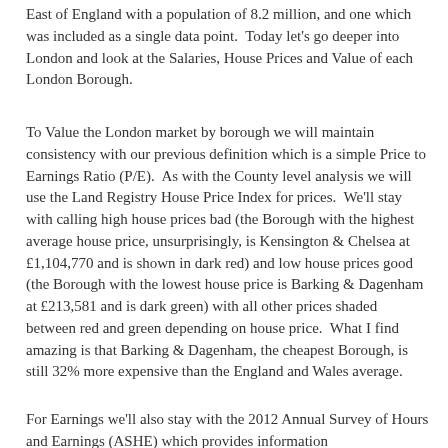East of England with a population of 8.2 million, and one which was included as a single data point.  Today let's go deeper into London and look at the Salaries, House Prices and Value of each London Borough.
To Value the London market by borough we will maintain consistency with our previous definition which is a simple Price to Earnings Ratio (P/E).  As with the County level analysis we will use the Land Registry House Price Index for prices.  We'll stay with calling high house prices bad (the Borough with the highest average house price, unsurprisingly, is Kensington & Chelsea at £1,104,770 and is shown in dark red) and low house prices good (the Borough with the lowest house price is Barking & Dagenham at £213,581 and is dark green) with all other prices shaded between red and green depending on house price.  What I find amazing is that Barking & Dagenham, the cheapest Borough, is still 32% more expensive than the England and Wales average.
For Earnings we'll also stay with the 2012 Annual Survey of Hours and Earnings (ASHE) which provides information